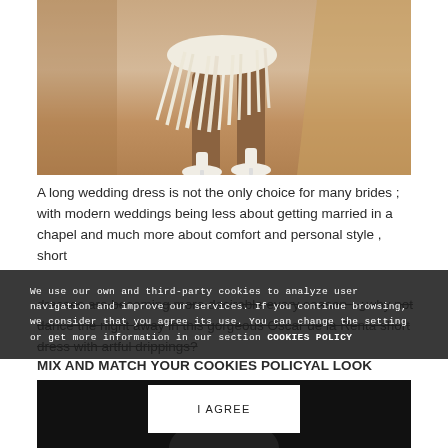[Figure (photo): Fashion photo showing lower body of a model wearing a short white feathered/fringed dress and white heeled shoes, against a beige/tan background]
A long wedding dress is not the only choice for many brides ; with modern weddings being less about getting married in a chapel and much more about comfort and personal style , short dresses are becoming more desirable every season . ¿why not dance the night away in this gorgeous Oscar de la Renta short dress with artful drippings?
We use our own and third-party cookies to analyze user navigation and improve our services. If you continue browsing, we consider that you agree its use. You can change the setting or get more information in our section COOKIES POLICY
MIX AND MATCH YOUR BRIDAL LOOK
[Figure (photo): Dark/black background fashion photo, partially visible at bottom of page showing a figure]